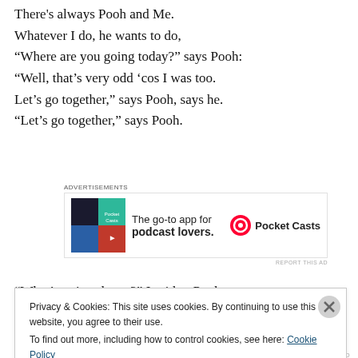There's always Pooh and Me.
Whatever I do, he wants to do,
“Where are you going today?” says Pooh:
“Well, that’s very odd ‘cos I was too.
Let’s go together,” says Pooh, says he.
“Let’s go together,” says Pooh.
[Figure (other): Pocket Casts app advertisement: 'The go-to app for podcast lovers.' with Pocket Casts logo]
“What’s twice eleven?” I said to Pooh.
Privacy & Cookies: This site uses cookies. By continuing to use this website, you agree to their use.
To find out more, including how to control cookies, see here: Cookie Policy